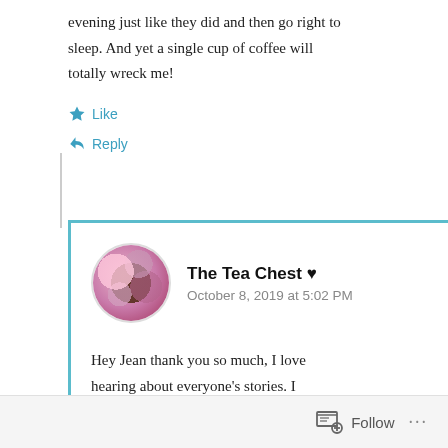evening just like they did and then go right to sleep. And yet a single cup of coffee will totally wreck me!
Like
Reply
The Tea Chest ♥
October 8, 2019 at 5:02 PM
Hey Jean thank you so much, I love hearing about everyone's stories. I
Follow ...